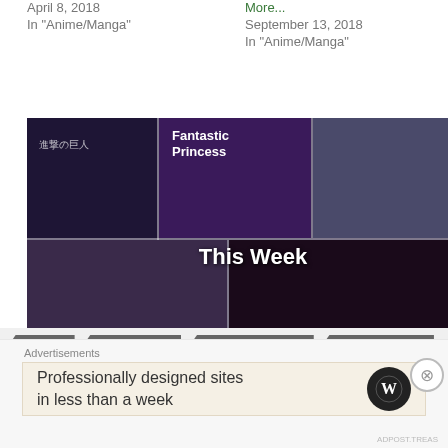April 8, 2018
In "Anime/Manga"
More...
September 13, 2018
In "Anime/Manga"
[Figure (photo): Collage of anime images with text 'This Week' and 'In Anime' overlay]
This Week in Anime: New Sequel Films, Attack on Titan and More...
May 3, 2018
In "Anime/Manga"
ANIME
ANIME BLOG
ATTACK ON TITAN
BLACK BULLET
Advertisements
Professionally designed sites in less than a week